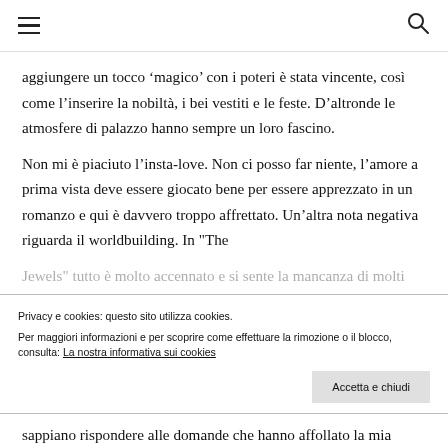aggiungere un tocco ‘magico’ con i poteri è stata vincente, così come l’inserire la nobiltà, i bei vestiti e le feste. D’altronde le atmosfere di palazzo hanno sempre un loro fascino.
Non mi è piaciuto l’insta-love. Non ci posso far niente, l’amore a prima vista deve essere giocato bene per essere apprezzato in un romanzo e qui è davvero troppo affrettato. Un’altra nota negativa riguarda il worldbuilding. In "The Jewels" tutto è molto accennato e si sente la mancanza di molti
sappiano rispondere alle domande che hanno affollato la mia
Privacy e cookies: questo sito utilizza cookies.
Per maggiori informazioni e per scoprire come effettuare la rimozione o il blocco, consulta: La nostra informativa sui cookies
Accetta e chiudi